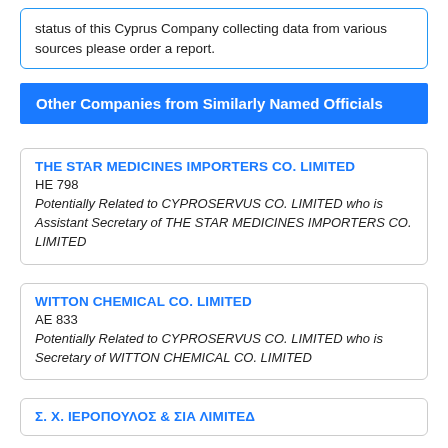status of this Cyprus Company collecting data from various sources please order a report.
Other Companies from Similarly Named Officials
THE STAR MEDICINES IMPORTERS CO. LIMITED
HE 798
Potentially Related to CYPROSERVUS CO. LIMITED who is Assistant Secretary of THE STAR MEDICINES IMPORTERS CO. LIMITED
WITTON CHEMICAL CO. LIMITED
AE 833
Potentially Related to CYPROSERVUS CO. LIMITED who is Secretary of WITTON CHEMICAL CO. LIMITED
Σ. Χ. ΙΕΡΟΠΟΥΛΟΣ & ΣΙΑ ΛΙΜΙΤΕΔ